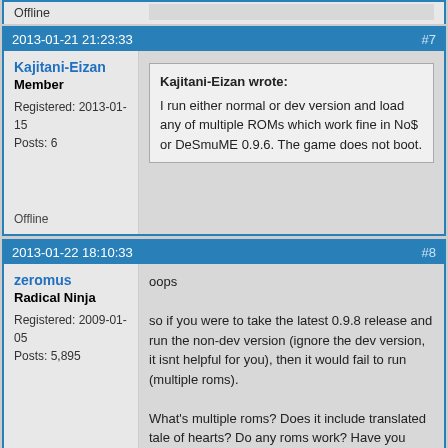Offline
2013-01-21 21:23:33  #7
Kajitani-Eizan
Member
Registered: 2013-01-15
Posts: 6
Kajitani-Eizan wrote:
I run either normal or dev version and load any of multiple ROMs which work fine in No$ or DeSmuME 0.9.6. The game does not boot.
Offline
2013-01-22 18:10:33  #8
zeromus
Radical Ninja
Registered: 2009-01-05
Posts: 5,895
oops

so if you were to take the latest 0.9.8 release and run the non-dev version (ignore the dev version, it isnt helpful for you), then it would fail to run (multiple roms).

What's multiple roms? Does it include translated tale of hearts? Do any roms work? Have you tried turning off your security or antivirus software?
Offline
2013-01-22 19:29:19  #9